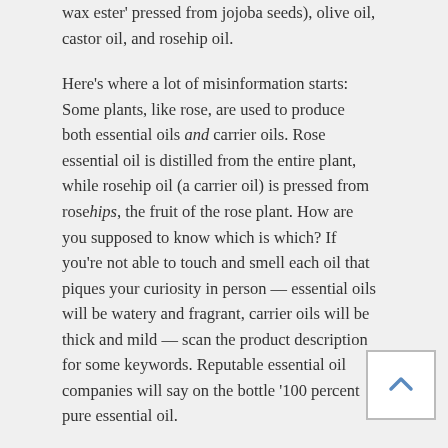wax ester' pressed from jojoba seeds), olive oil, castor oil, and rosehip oil.
Here's where a lot of misinformation starts: Some plants, like rose, are used to produce both essential oils and carrier oils. Rose essential oil is distilled from the entire plant, while rosehip oil (a carrier oil) is pressed from rosehips, the fruit of the rose plant. How are you supposed to know which is which? If you're not able to touch and smell each oil that piques your curiosity in person — essential oils will be watery and fragrant, carrier oils will be thick and mild — scan the product description for some keywords. Reputable essential oil companies will say on the bottle '100 percent pure essential oil.